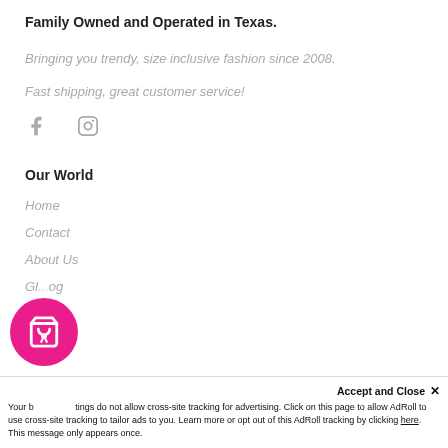Family Owned and Operated in Texas.
Bringing you trendy, size inclusive fashion since 2008.
Fast shipping, great customer service!
[Figure (illustration): Facebook and Instagram social media icons in gray]
Our World
Home
Contact
About Us
Gl...og
[Figure (illustration): Magenta circular shopping cart button with heart icon]
Accept and Close ✕
Your b...ings do not allow cross-site tracking for advertising. Click on this page to allow AdRoll to use cross-site tracking to tailor ads to you. Learn more or opt out of this AdRoll tracking by clicking here. This message only appears once.